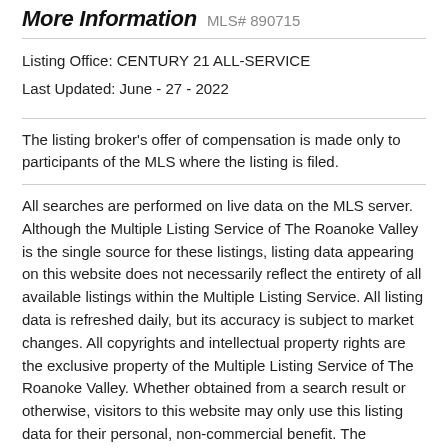More Information MLS# 890715
Listing Office: CENTURY 21 ALL-SERVICE
Last Updated: June - 27 - 2022
The listing broker's offer of compensation is made only to participants of the MLS where the listing is filed.
All searches are performed on live data on the MLS server. Although the Multiple Listing Service of The Roanoke Valley is the single source for these listings, listing data appearing on this website does not necessarily reflect the entirety of all available listings within the Multiple Listing Service. All listing data is refreshed daily, but its accuracy is subject to market changes. All copyrights and intellectual property rights are the exclusive property of the Multiple Listing Service of The Roanoke Valley. Whether obtained from a search result or otherwise, visitors to this website may only use this listing data for their personal, non-commercial benefit. The unauthorized retrieval or use of this listing data